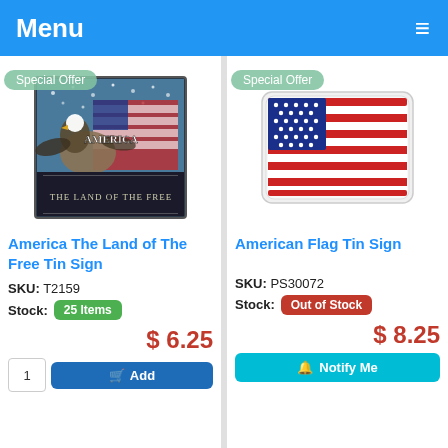Menu
[Figure (screenshot): Product listing page showing two tin sign products side by side with Special Offer badges, prices, and add to cart functionality]
Special Offer
[Figure (photo): America The Land of The Free Tin Sign - patriotic image with eagle and American flag]
America The Land of The Free Tin Sign
SKU: T2159
Stock: 25 Items
$ 6.25
Special Offer
[Figure (photo): American Flag Tin Sign - image of American flag sticker/magnet]
American Flag Tin Sign
SKU: PS30072
Stock: Out of Stock
$ 8.25